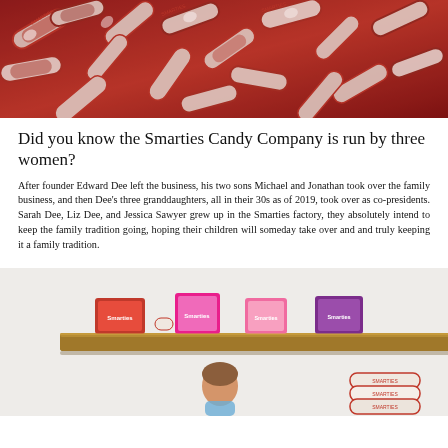[Figure (photo): Close-up photo of many Smarties candy rolls in red and white wrappers piled together]
Did you know the Smarties Candy Company is run by three women?
After founder Edward Dee left the business, his two sons Michael and Jonathan took over the family business, and then Dee's three granddaughters, all in their 30s as of 2019, took over as co-presidents. Sarah Dee, Liz Dee, and Jessica Sawyer grew up in the Smarties factory, they absolutely intend to keep the family tradition going, hoping their children will someday take over and and truly keeping it a family tradition.
[Figure (photo): Photo of a wooden shelf displaying various Smarties candy products in colorful packaging, with a child visible below]